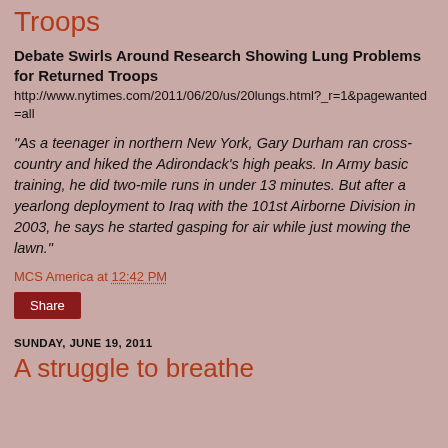Troops
Debate Swirls Around Research Showing Lung Problems for Returned Troops
http://www.nytimes.com/2011/06/20/us/20lungs.html?_r=1&pagewanted=all
"As a teenager in northern New York, Gary Durham ran cross-country and hiked the Adirondack's high peaks. In Army basic training, he did two-mile runs in under 13 minutes. But after a yearlong deployment to Iraq with the 101st Airborne Division in 2003, he says he started gasping for air while just mowing the lawn."
MCS America at 12:42 PM
Share
SUNDAY, JUNE 19, 2011
A struggle to breathe